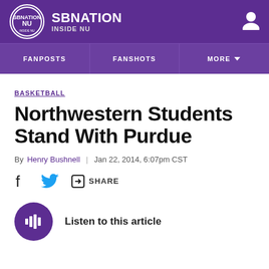SBNATION INSIDE NU
FANPOSTS | FANSHOTS | MORE
BASKETBALL
Northwestern Students Stand With Purdue
By Henry Bushnell | Jan 22, 2014, 6:07pm CST
SHARE
Listen to this article